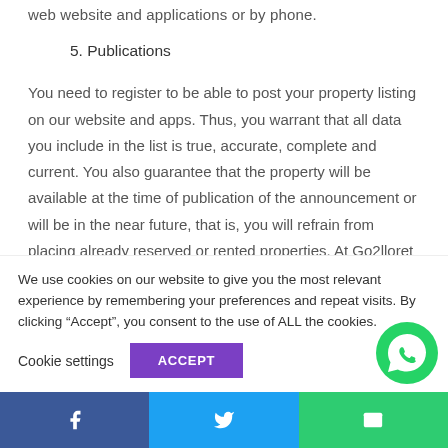web website and applications or by phone.
5. Publications
You need to register to be able to post your property listing on our website and apps. Thus, you warrant that all data you include in the list is true, accurate, complete and current. You also guarantee that the property will be available at the time of publication of the announcement or will be in the near future, that is, you will refrain from placing already reserved or rented properties. At Go2lloret we will endeavor to verifu
We use cookies on our website to give you the most relevant experience by remembering your preferences and repeat visits. By clicking “Accept”, you consent to the use of ALL the cookies.
Cookie settings
ACCEPT